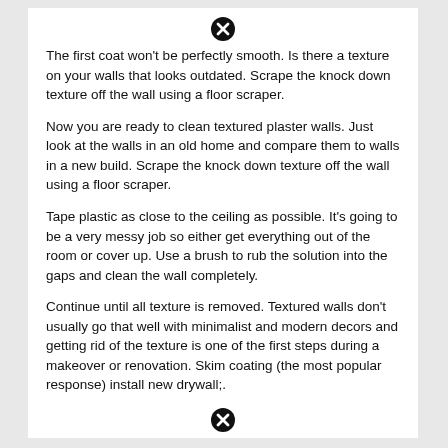[Figure (other): Black circle with X icon at top]
The first coat won't be perfectly smooth. Is there a texture on your walls that looks outdated. Scrape the knock down texture off the wall using a floor scraper.
Now you are ready to clean textured plaster walls. Just look at the walls in an old home and compare them to walls in a new build. Scrape the knock down texture off the wall using a floor scraper.
Tape plastic as close to the ceiling as possible. It's going to be a very messy job so either get everything out of the room or cover up. Use a brush to rub the solution into the gaps and clean the wall completely.
Continue until all texture is removed. Textured walls don't usually go that well with minimalist and modern decors and getting rid of the texture is one of the first steps during a makeover or renovation. Skim coating (the most popular response) install new drywall;.
[Figure (other): Black circle with X icon at bottom]